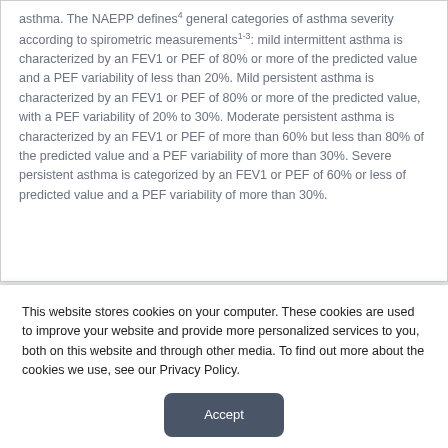asthma. The NAEPP defines⁴ general categories of asthma severity according to spirometric measurements¹⁻³: mild intermittent asthma is characterized by an FEV1 or PEF of 80% or more of the predicted value and a PEF variability of less than 20%. Mild persistent asthma is characterized by an FEV1 or PEF of 80% or more of the predicted value, with a PEF variability of 20% to 30%. Moderate persistent asthma is characterized by an FEV1 or PEF of more than 60% but less than 80% of the predicted value and a PEF variability of more than 30%. Severe persistent asthma is categorized by an FEV1 or PEF of 60% or less of predicted value and a PEF variability of more than 30%.
This website stores cookies on your computer. These cookies are used to improve your website and provide more personalized services to you, both on this website and through other media. To find out more about the cookies we use, see our Privacy Policy.